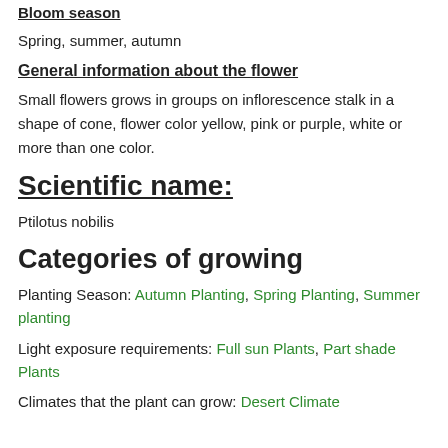Bloom season
Spring, summer, autumn
General information about the flower
Small flowers grows in groups on inflorescence stalk in a shape of cone, flower color yellow, pink or purple, white or more than one color.
Scientific name:
Ptilotus nobilis
Categories of growing
Planting Season: Autumn Planting, Spring Planting, Summer planting
Light exposure requirements: Full sun Plants, Part shade Plants
Climates that the plant can grow: Desert Climate